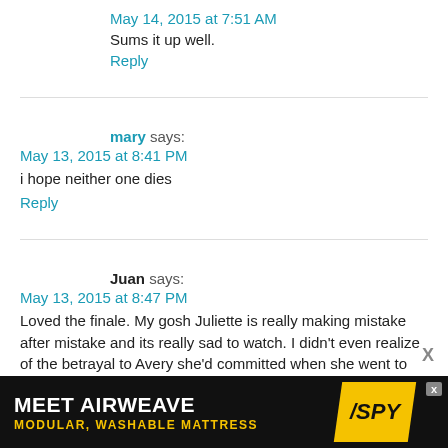May 14, 2015 at 7:51 AM
Sums it up well.
Reply
mary says:
May 13, 2015 at 8:41 PM
i hope neither one dies
Reply
Juan says:
May 13, 2015 at 8:47 PM
Loved the finale. My gosh Juliette is really making mistake after mistake and its really sad to watch. I didn't even realize of the betrayal to Avery she'd committed when she went to him and Avery crying is just freaking heartbreaking
[Figure (screenshot): Advertisement banner: MEET AIRWEAVE MODULAR, WASHABLE MATTRESS with SPY logo]